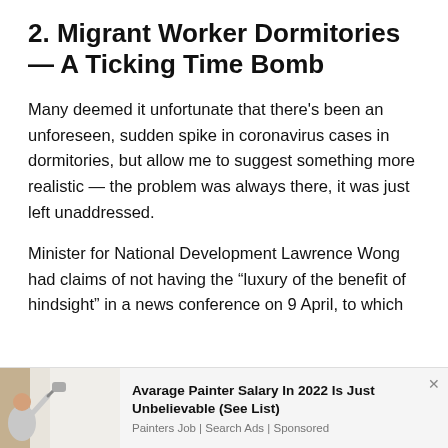2. Migrant Worker Dormitories — A Ticking Time Bomb
Many deemed it unfortunate that there's been an unforeseen, sudden spike in coronavirus cases in dormitories, but allow me to suggest something more realistic — the problem was always there, it was just left unaddressed.
Minister for National Development Lawrence Wong had claims of not having the “luxury of the benefit of hindsight” in a news conference on 9 April, to which
[Figure (photo): Man painting a white wall with a roller]
Avarage Painter Salary In 2022 Is Just Unbelievable (See List)
Painters Job | Search Ads | Sponsored